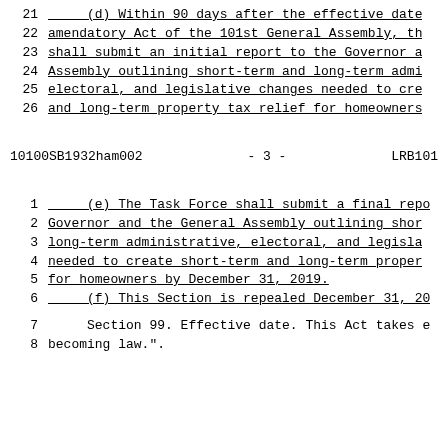21    (d) Within 90 days after the effective date
22    amendatory Act of the 101st General Assembly, th
23    shall submit an initial report to the Governor a
24    Assembly outlining short-term and long-term admi
25    electoral, and legislative changes needed to cre
26    and long-term property tax relief for homeowners
10100SB1932ham002          - 3 -          LRB101
1     (e) The Task Force shall submit a final repo
2     Governor and the General Assembly outlining shor
3     long-term administrative, electoral, and legisla
4     needed to create short-term and long-term proper
5     for homeowners by December 31, 2019.
6     (f) This Section is repealed December 31, 20
7     Section 99. Effective date. This Act takes e
8     becoming law.".